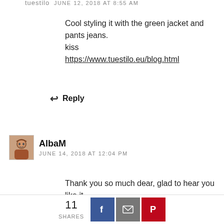tuestilo — JUNE 12, 2018 AT 8:55 AM
Cool styling it with the green jacket and pants jeans.
kiss
https://www.tuestilo.eu/blog.html
Reply
AlbaM
JUNE 14, 2018 AT 12:04 PM
Thank you so much dear, glad to hear you like it
Reply
11 SHARES